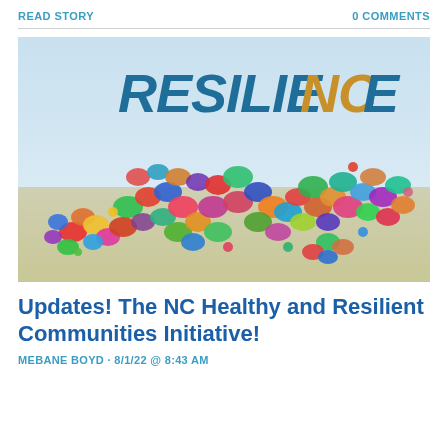READ STORY	0 COMMENTS
[Figure (illustration): RESILIENCE logo with colorful handprints shaped like the state of North Carolina, on a blurred outdoor background with light blue sky and tan field.]
Updates! The NC Healthy and Resilient Communities Initiative!
MEBANE BOYD · 8/1/22 @ 8:43 AM